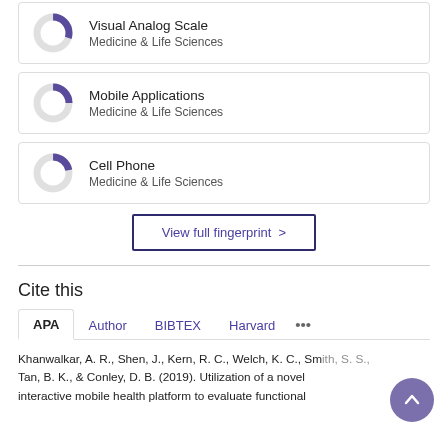[Figure (donut-chart): Partial donut chart showing Visual Analog Scale, Medicine & Life Sciences]
Visual Analog Scale
Medicine & Life Sciences
[Figure (donut-chart): Partial donut chart showing Mobile Applications, Medicine & Life Sciences]
Mobile Applications
Medicine & Life Sciences
[Figure (donut-chart): Partial donut chart showing Cell Phone, Medicine & Life Sciences]
Cell Phone
Medicine & Life Sciences
View full fingerprint >
Cite this
APA  Author  BIBTEX  Harvard  ...
Khanwalkar, A. R., Shen, J., Kern, R. C., Welch, K. C., Smith, S. S., Tan, B. K., & Conley, D. B. (2019). Utilization of a novel interactive mobile health platform to evaluate functional